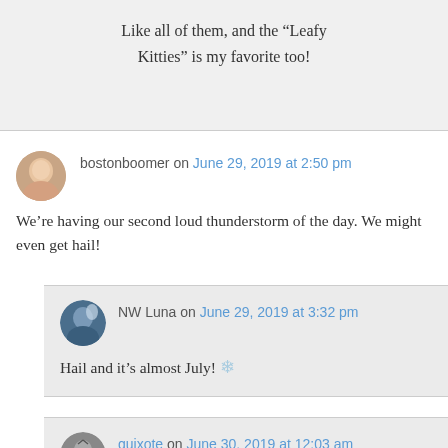Like all of them, and the “Leafy Kitties” is my favorite too!
bostonboomer on June 29, 2019 at 2:50 pm
We’re having our second loud thunderstorm of the day. We might even get hail!
NW Luna on June 29, 2019 at 3:32 pm
Hail and it’s almost July! ❄
quixote on June 30, 2019 at 12:03 am